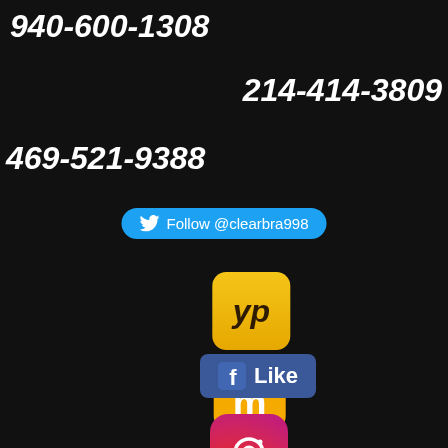940-600-1308
214-414-3809
469-521-9388
[Figure (infographic): Twitter Follow button with bird icon and text 'Follow @clearbra998' on blue rounded rectangle]
[Figure (logo): YP (Yellow Pages) logo - yellow rounded square with 'yp' text in dark brown italic]
[Figure (logo): Manta.com logo - yellow speech bubble with white 'm' letter]
[Figure (infographic): Facebook Like button - blue rectangle with Facebook 'f' icon and 'Like' text]
[Figure (logo): Instagram logo - gradient rounded square with camera ring icon]